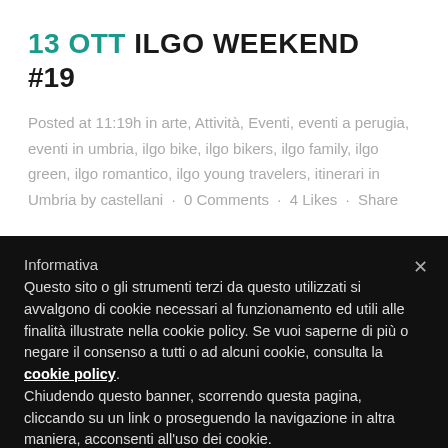13 OTT ILGO WEEKEND #19
Posted at 11:19h in arte, Attività, Eventi, eventi a perugia, eventi in umbria, ilgo bike, ilgo bikers, ilgo family, ilgo green, ilgo romantico, ilgo young travelers, itinerari in Umbria by castellani · 0 Comments · 4 Likes · Share
Informativa
Questo sito o gli strumenti terzi da questo utilizzati si avvalgono di cookie necessari al funzionamento ed utili alle finalità illustrate nella cookie policy. Se vuoi saperne di più o negare il consenso a tutti o ad alcuni cookie, consulta la cookie policy. Chiudendo questo banner, scorrendo questa pagina, cliccando su un link o proseguendo la navigazione in altra maniera, acconsenti all'uso dei cookie.